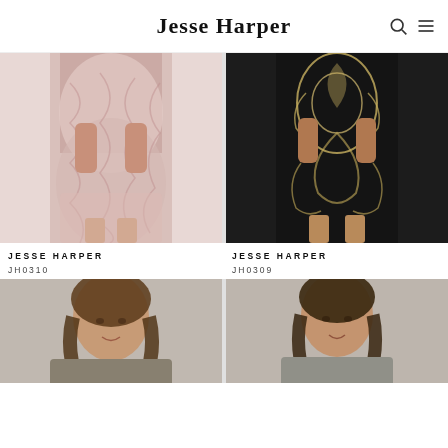Jesse Harper
[Figure (photo): Pink lace midi skirt on model, product JH0310]
[Figure (photo): Black with gold embroidery midi skirt on model, product JH0309]
JESSE HARPER
JH0310
JESSE HARPER
JH0309
[Figure (photo): Model wearing Jesse Harper dress, bottom row left]
[Figure (photo): Model wearing Jesse Harper dress, bottom row right]